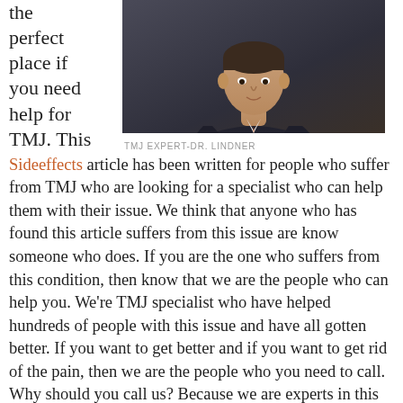the perfect place if you need help for TMJ. This
[Figure (photo): Photo of TMJ Expert Dr. Lindner — a man in a dark suit with arms crossed, shown from chest up against a dark background]
TMJ EXPERT-DR. LINDNER
Sideeffects article has been written for people who suffer from TMJ who are looking for a specialist who can help them with their issue. We think that anyone who has found this article suffers from this issue are know someone who does. If you are the one who suffers from this condition, then know that we are the people who can help you. We're TMJ specialist who have helped hundreds of people with this issue and have all gotten better. If you want to get better and if you want to get rid of the pain, then we are the people who you need to call. Why should you call us? Because we are experts in this field use q treatment to improve your behavioral health service. we specialize in TMJ the